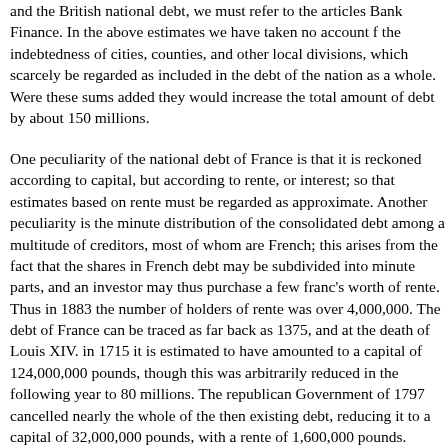and the British national debt, we must refer to the articles Bank Finance. In the above estimates we have taken no account f the indebtedness of cities, counties, and other local divisions, which scarcely be regarded as included in the debt of the nation as a whole. Were these sums added they would increase the total amount of debt by about 150 millions.
One peculiarity of the national debt of France is that it is reckoned according to capital, but according to rente, or interest; so that estimates based on rente must be regarded as approximate. Another peculiarity is the minute distribution of the consolidated debt among a multitude of creditors, most of whom are French; this arises from the fact that the shares in French debt may be subdivided into minute parts, and an investor may thus purchase a few franc's worth of rente. Thus in 1883 the number of holders of rente was over 4,000,000. The debt of France can be traced as far back as 1375, and at the death of Louis XIV. in 1715 it is estimated to have amounted to a capital of 124,000,000 pounds, though this was arbitrarily reduced in the following year to 80 millions. The republican Government of 1797 cancelled nearly the whole of the then existing debt, reducing it to a capital of 32,000,000 pounds, with a rente of 1,600,000 pounds. During the empire, notwithstanding Napoleon's extensive wars, the debt had only grown to 70,645,000 pounds, including a floating debt of 20 millions. Under the Bourbons, what with war-levies and constant deficits, it grew rapidly, and in 1830 stood at 141,770,000 pounds. To this the Orleans dynasty added 40 millions, leaving the debt in